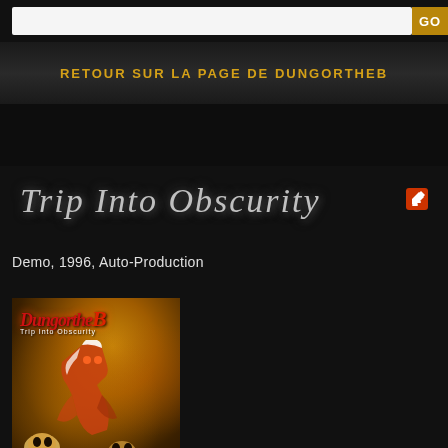GO
RETOUR SUR LA PAGE DE DUNGORTHEB
Trip Into Obscurity
Demo, 1996, Auto-Production
[Figure (illustration): Album cover art for Dungortheb 'Trip Into Obscurity' Demo 1996 Auto-Production, showing a fantasy character illustration in orange and red tones with skulls]